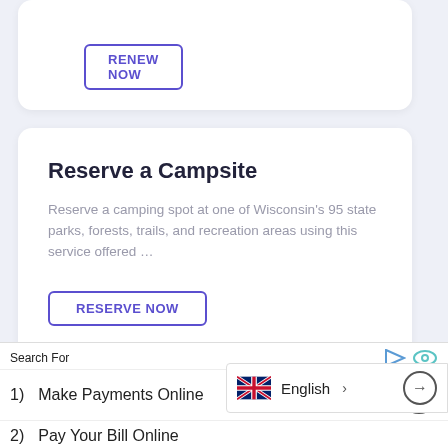RENEW NOW
Reserve a Campsite
Reserve a camping spot at one of Wisconsin's 95 state parks, forests, trails, and recreation areas using this service offered …
RESERVE NOW
Register to Vote
Using this online service, you can register to vote online in Wisconsin.
Search For
1)   Make Payments Online
2)   Pay Your Bill Online
English